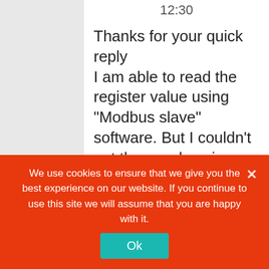12:30
Thanks for your quick reply
I am able to read the register value using “Modbus slave” software. But I couldn't get those values in my program. Getting Checksum error. I used the same slave address, baud rate, data bits
We use cookies to ensure that we give you the best experience on our website. If you continue to use this site we will assume that you are happy with it.